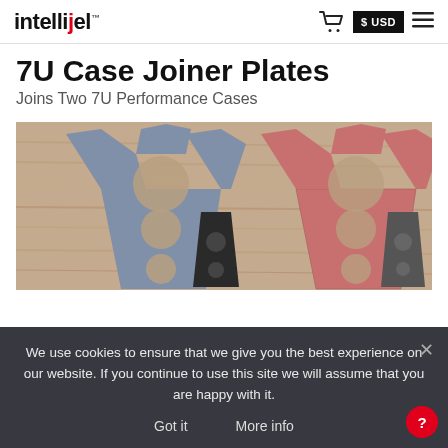intellijel | $ USD
7U Case Joiner Plates
Joins Two 7U Performance Cases
[Figure (photo): Photo of two Y-shaped joiner plates (one gray/blue, one pink/red) alongside two small triangular clip pieces, displayed on a wooden surface]
We use cookies to ensure that we give you the best experience on our website. If you continue to use this site we will assume that you are happy with it.
Got it    More info